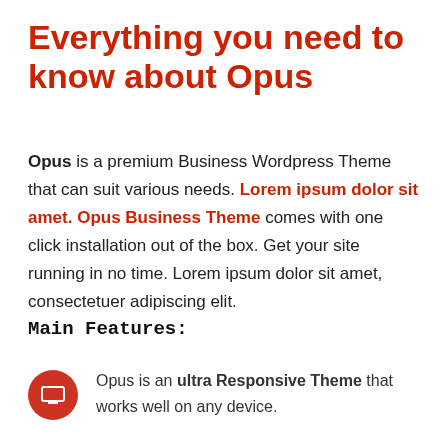Everything you need to know about Opus
Opus is a premium Business Wordpress Theme that can suit various needs. Lorem ipsum dolor sit amet. Opus Business Theme comes with one click installation out of the box. Get your site running in no time. Lorem ipsum dolor sit amet, consectetuer adipiscing elit.
Main Features:
Opus is an ultra Responsive Theme that works well on any device.